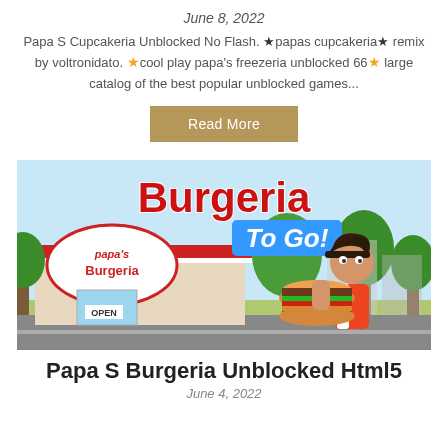June 8, 2022
Papa S Cupcakeria Unblocked No Flash. ★papas cupcakeria★ remix by voltronidato. ★cool play papa's freezeria unblocked 66★ large catalog of the best popular unblocked games...
Read More
[Figure (illustration): Game banner image for Papa's Burgeria To Go! showing the restaurant exterior with OPEN sign, trees, and a character holding a large burger. Title reads 'Burgeria To Go!' in stylized red and blue text.]
Papa S Burgeria Unblocked Html5
June 4, 2022